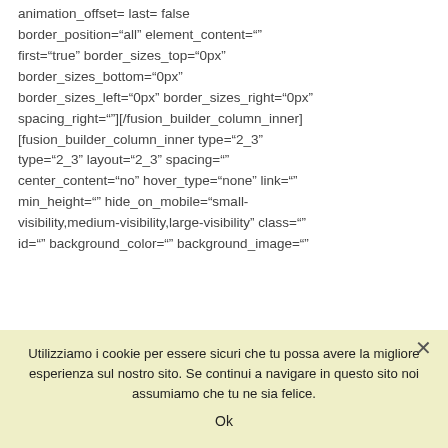animation_offset= last= false border_position="all" element_content="" first="true" border_sizes_top="0px" border_sizes_bottom="0px" border_sizes_left="0px" border_sizes_right="0px" spacing_right=""][/fusion_builder_column_inner] [fusion_builder_column_inner type="2_3" type="2_3" layout="2_3" spacing="" center_content="no" hover_type="none" link="" min_height="" hide_on_mobile="small-visibility,medium-visibility,large-visibility" class="" id="" background_color="" background_image=""
Utilizziamo i cookie per essere sicuri che tu possa avere la migliore esperienza sul nostro sito. Se continui a navigare in questo sito noi assumiamo che tu ne sia felice.
Ok